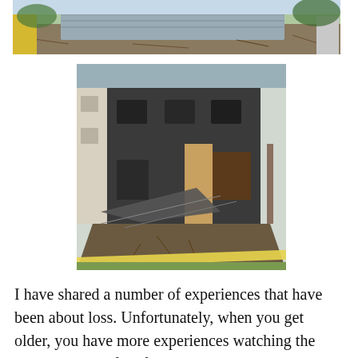[Figure (photo): Top portion of a disaster/demolition scene showing debris, rubble, yellow caution tape, and damaged structures with corrugated metal roofing.]
[Figure (photo): A fire-damaged two-story brick building with collapsed walls, charred debris, broken windows, and yellow caution tape in the foreground. The structure appears heavily damaged from a fire.]
I have shared a number of experiences that have been about loss. Unfortunately, when you get older, you have more experiences watching the achievements of a life's